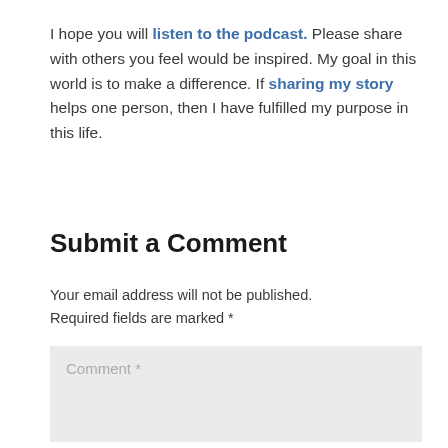I hope you will listen to the podcast. Please share with others you feel would be inspired. My goal in this world is to make a difference. If sharing my story helps one person, then I have fulfilled my purpose in this life.
Submit a Comment
Your email address will not be published. Required fields are marked *
Comment *